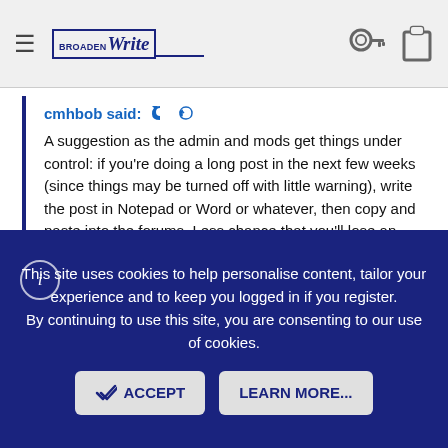≡  [BroadWrite logo]  🔑  📋
cmhbob said: ↩
A suggestion as the admin and mods get things under control: if you're doing a long post in the next few weeks (since things may be turned off with little warning), write the post in Notepad or Word or whatever, then copy and paste into the forums. Less chance that you'll lose an epic post that way.
I just hit copy (paste) before posting in case it doesn't go through and then paste it to text/edit if the post is a failure to be able to post it again later. I also copy it as I go if I've posted anything particularly long and save that to text/edit if I need to use the copy for something else like pasting a link.
This site uses cookies to help personalise content, tailor your experience and to keep you logged in if you register.
By continuing to use this site, you are consenting to our use of cookies.
ACCEPT    LEARN MORE...